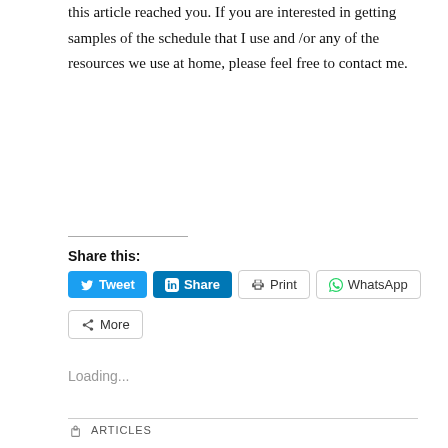this article reached you. If you are interested in getting samples of the schedule that I use and /or any of the resources we use at home, please feel free to contact me.
Share this:
Loading...
ARTICLES
HOMESCHOOLING, PARENTING, WELLNESSWEDNESDAY